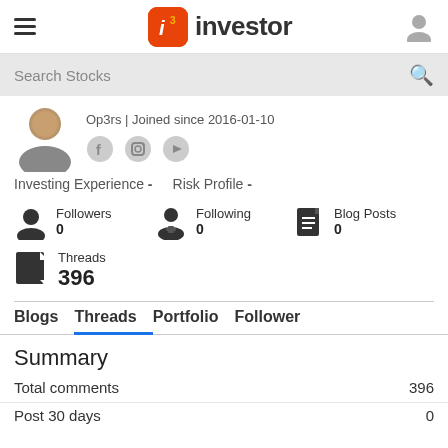i3 investor
Search Stocks
Op3rs | Joined since 2016-01-10
Investing Experience -   Risk Profile -
Followers 0   Following 0   Blog Posts 0
Threads 396
Blogs   Threads   Portfolio   Follower
Summary
Total comments   396
Post 30 days   0